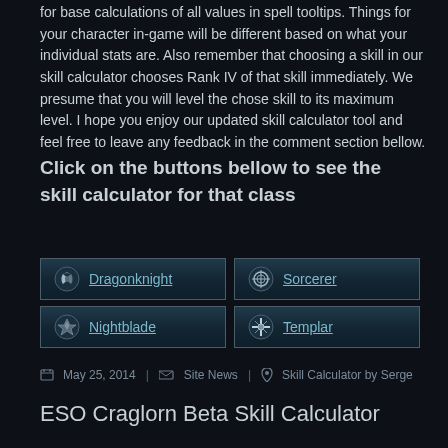for base calculations of all values in spell tooltips. Things for your character in-game will be different based on what your individual stats are. Also remember that choosing a skill in our skill calculator chooses Rank IV of that skill immediately. We presume that you will level the chose skill to its maximum level. I hope you enjoy our updated skill calculator tool and feel free to leave any feedback in the comment section bellow.
Click on the buttons bellow to see the skill calculator for that class
[Figure (infographic): Four class buttons: Dragonknight, Sorcerer, Nightblade, Templar arranged in a 2x2 grid with icons]
May 25, 2014  Site News  Skill Calculator by Serge
ESO Craglorn Beta Skill Calculator